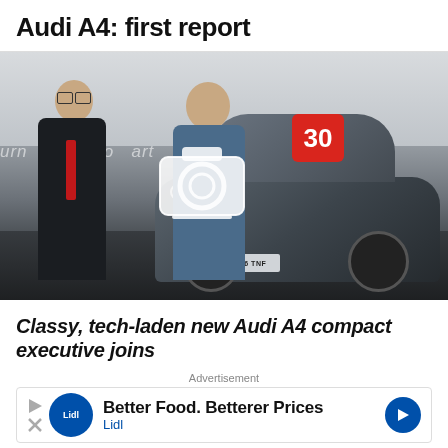Audi A4: first report
[Figure (photo): Two men in an Audi showroom, one in a suit and one in casual clothes, with a grey Audi A4 car in the foreground. A camera gallery icon with the number 30 is overlaid on the image.]
Classy, tech-laden new Audi A4 compact executive joins
Advertisement
[Figure (other): Advertisement banner: Better Food. Betterer Prices - Lidl]